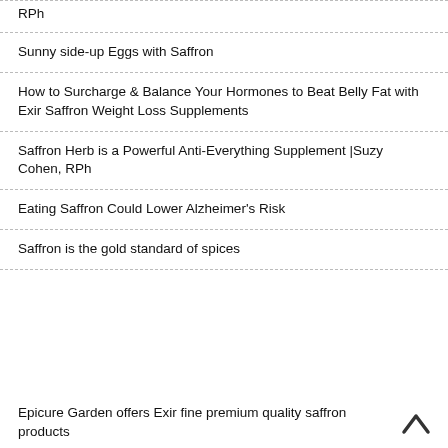RPh
Sunny side-up Eggs with Saffron
How to Surcharge & Balance Your Hormones to Beat Belly Fat with Exir Saffron Weight Loss Supplements
Saffron Herb is a Powerful Anti-Everything Supplement |Suzy Cohen, RPh
Eating Saffron Could Lower Alzheimer's Risk
Saffron is the gold standard of spices
Epicure Garden offers Exir fine premium quality saffron products